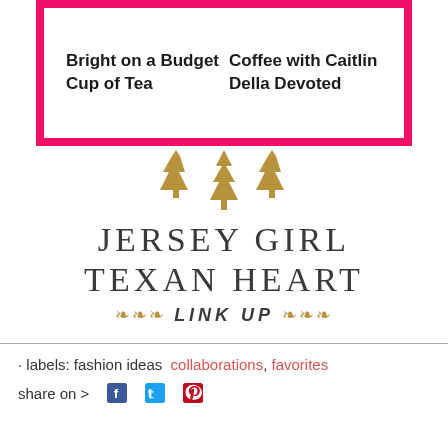[Figure (illustration): A pink/red bordered box containing blog names in two columns: 'Bright on a Budget', 'Coffee with Caitlin', 'Cup of Tea', 'Della Devoted']
[Figure (logo): Jersey Girl Texan Heart Link Up logo with three gold pine trees above text 'JERSEY GIRL TEXAN HEART' and decorative branches flanking 'LINK UP']
· labels: fashion ideas collaborations, favorites
share on > f t p